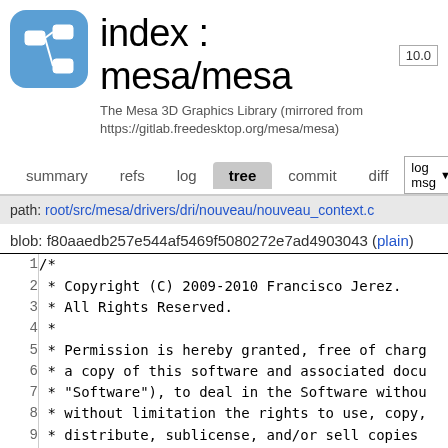index : mesa/mesa 10.0
The Mesa 3D Graphics Library (mirrored from https://gitlab.freedesktop.org/mesa/mesa)
summary  refs  log  tree  commit  diff  log msg
path: root/src/mesa/drivers/dri/nouveau/nouveau_context.c
blob: f80aaedb257e544af5469f5080272e7ad4903043 (plain)
| line | code |
| --- | --- |
| 1 | /* |
| 2 |  * Copyright (C) 2009-2010 Francisco Jerez. |
| 3 |  * All Rights Reserved. |
| 4 |  * |
| 5 |  * Permission is hereby granted, free of charg |
| 6 |  * a copy of this software and associated docu |
| 7 |  * "Software"), to deal in the Software withou |
| 8 |  * without limitation the rights to use, copy, |
| 9 |  * distribute, sublicense, and/or sell copies |
| 10 |  * permit persons to whom the Software is furr |
| 11 |  * the following conditions: |
| 12 |  * |
| 13 |  * The above copyright notice and this permiss |
| 14 |  * next paragraph) shall be included in all co |
| 15 |  * portions of the Software. |
| 16 |  * |